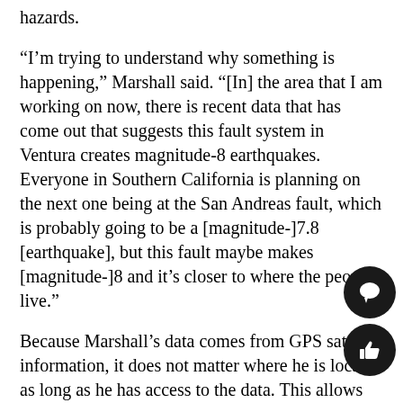hazards.
“I’m trying to understand why something is happening,” Marshall said. “[In] the area that I am working on now, there is recent data that has come out that suggests this fault system in Ventura creates magnitude-8 earthquakes. Everyone in Southern California is planning on the next one being at the San Andreas fault, which is probably going to be a [magnitude-]7.8 [earthquake], but this fault maybe makes [magnitude-]8 and it’s closer to where the people live.”
Because Marshall’s data comes from GPS satellite information, it does not matter where he is located as long as he has access to the data. This allows him to study faults in California and teach at Appalachian, he said.